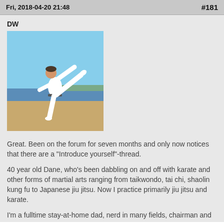Fri, 2018-04-20 21:48   #181
DW
[Figure (photo): Person in white karate gi performing a high kick on a beach, blue sky and water in background]
Great. Been on the forum for seven months and only now notices that there are a "Introduce yourself"-thread.
40 year old Dane, who's been dabbling on and off with karate and other forms of martial arts ranging from taikwondo, tai chi, shaolin kung fu to Japanese jiu jitsu. Now I practice primarily jiu jitsu and karate.
I'm a fulltime stay-at-home dad, nerd in many fields, chairman and instructor in our local jiu jitsu club in a small town (3000 residents). Our club is based on volunteers (as most clubs and unions in Denmark are) and we actually have the great privillige of having 70% of our members being girls and young women.